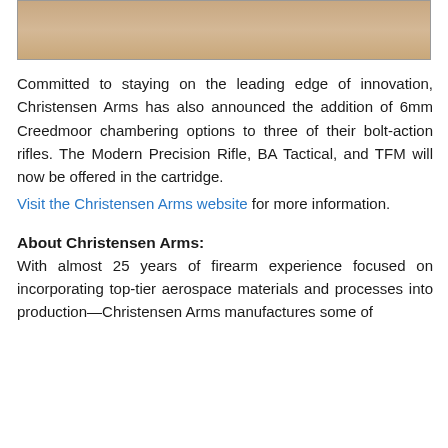[Figure (photo): Partial photo at top of page showing a sandy/tan colored surface, likely a rifle or outdoor scene]
Committed to staying on the leading edge of innovation, Christensen Arms has also announced the addition of 6mm Creedmoor chambering options to three of their bolt-action rifles. The Modern Precision Rifle, BA Tactical, and TFM will now be offered in the cartridge. Visit the Christensen Arms website for more information.
About Christensen Arms:
With almost 25 years of firearm experience focused on incorporating top-tier aerospace materials and processes into production—Christensen Arms manufactures some of